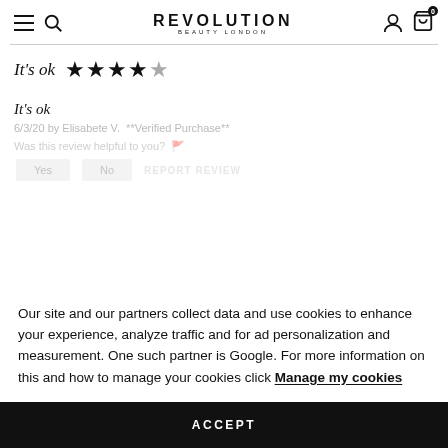REVOLUTION BEAUTY LONDON
It's ok ★★★★☆
It's ok
6/3/20 by Elisabete V.  **Verified Purchase**
Our site and our partners collect data and use cookies to enhance your experience, analyze traffic and for ad personalization and measurement. One such partner is Google. For more information on this and how to manage your cookies click Manage my cookies
ACCEPT